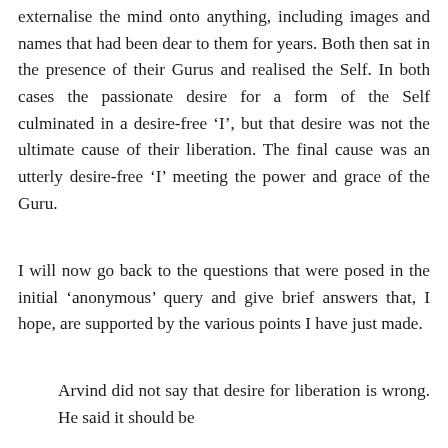externalise the mind onto anything, including images and names that had been dear to them for years. Both then sat in the presence of their Gurus and realised the Self. In both cases the passionate desire for a form of the Self culminated in a desire-free ‘I’, but that desire was not the ultimate cause of their liberation. The final cause was an utterly desire-free ‘I’ meeting the power and grace of the Guru.
I will now go back to the questions that were posed in the initial ‘anonymous’ query and give brief answers that, I hope, are supported by the various points I have just made.
Arvind did not say that desire for liberation is wrong. He said it should be